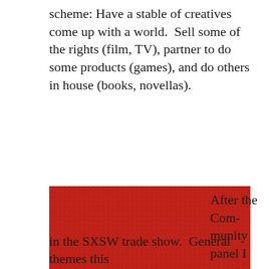scheme: Have a stable of creatives come up with a world.  Sell some of the rights (film, TV), partner to do some products (games), and do others in house (books, novellas).
[Figure (photo): A top-down photo of a person standing on a red carpet, wearing dark pants and sparkly gold shoes, with a blue bag visible at the bottom.]
After the Community panel I spent some time in the SXSW trade show.  General themes this